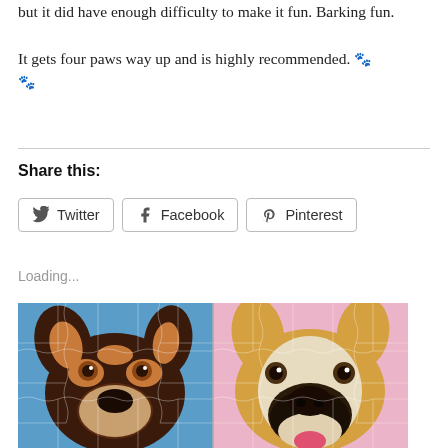but it did have enough difficulty to make it fun. Barking fun. It gets four paws way up and is highly recommended. 🐾 🐾
Share this:
Twitter  Facebook  Pinterest
Loading...
[Figure (photo): Two dog puzzle images side by side: left shows a dark brown/black dog with orange markings on a blue background, right shows a corgi-like dog with white and tan coloring on a pink background. Both are painted in a colorful artistic style and shown as jigsaw puzzles.]